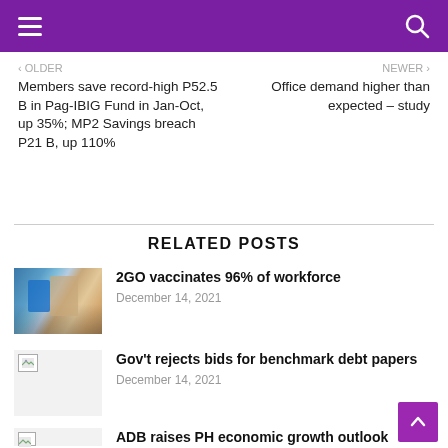Navigation header with menu and search icons
‹ OLDER
Members save record-high P52.5 B in Pag-IBIG Fund in Jan-Oct, up 35%; MP2 Savings breach P21 B, up 110%
NEWER ›
Office demand higher than expected – study
RELATED POSTS
[Figure (photo): Photo of people at a vaccination event, man in blue shirt and face mask receiving vaccine]
2GO vaccinates 96% of workforce
December 14, 2021
[Figure (photo): Broken image thumbnail]
Gov't rejects bids for benchmark debt papers
December 14, 2021
[Figure (photo): Broken image thumbnail]
ADB raises PH economic growth outlook
December 14, 2021